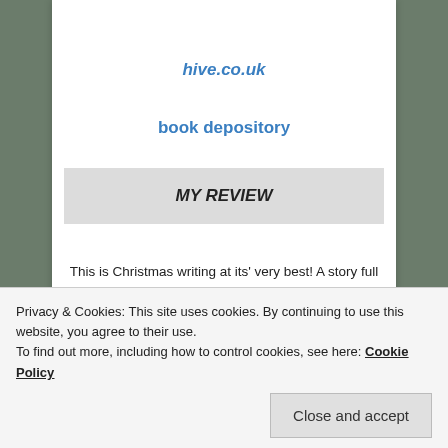hive.co.uk
book depository
MY REVIEW
This is Christmas writing at its' very best! A story full of heart that just lets you wallow in all the warmth of a wonderful cast of characters!
A tragedy that happened 25 years ago still plays a major
Privacy & Cookies: This site uses cookies. By continuing to use this website, you agree to their use.
To find out more, including how to control cookies, see here: Cookie Policy
Close and accept